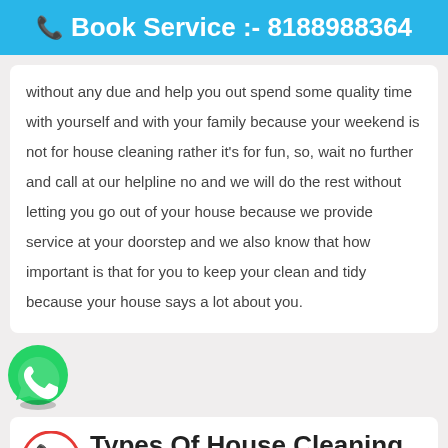☎ Book Service :- 8188988364
without any due and help you out spend some quality time with yourself and with your family because your weekend is not for house cleaning rather it's for fun, so, wait no further and call at our helpline no and we will do the rest without letting you go out of your house because we provide service at your doorstep and we also know that how important is that for you to keep your clean and tidy because your house says a lot about you.
[Figure (logo): WhatsApp green phone icon]
Types Of House Cleaning Services